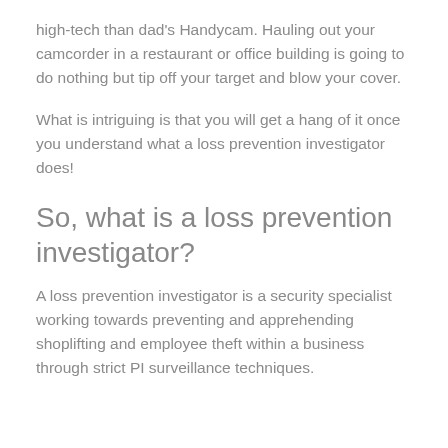high-tech than dad's Handycam. Hauling out your camcorder in a restaurant or office building is going to do nothing but tip off your target and blow your cover.
What is intriguing is that you will get a hang of it once you understand what a loss prevention investigator does!
So, what is a loss prevention investigator?
A loss prevention investigator is a security specialist working towards preventing and apprehending shoplifting and employee theft within a business through strict PI surveillance techniques.